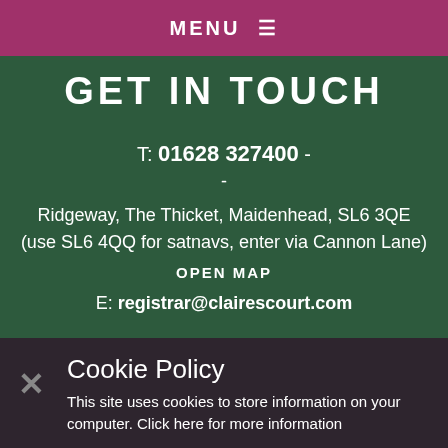MENU ≡
GET IN TOUCH
T: 01628 327400 -
-
Ridgeway, The Thicket, Maidenhead, SL6 3QE (use SL6 4QQ for satnavs, enter via Cannon Lane)
OPEN MAP
E: registrar@clairescourt.com
Cookie Policy
This site uses cookies to store information on your computer. Click here for more information
Allow Cookies   Deny Cookies